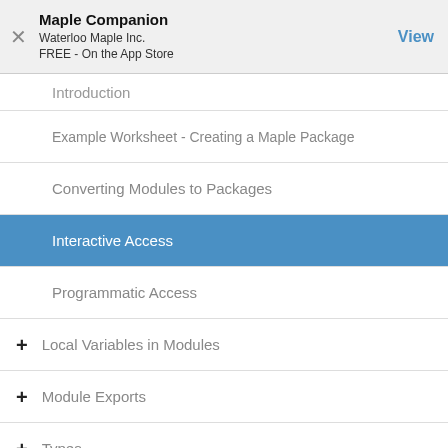Maple Companion
Waterloo Maple Inc.
FREE - On the App Store
Introduction
Example Worksheet - Creating a Maple Package
Converting Modules to Packages
Interactive Access
Programmatic Access
+ Local Variables in Modules
+ Module Exports
+ Types
Overview
Details